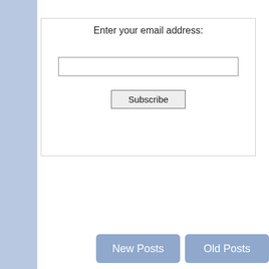Enter your email address:
[Figure (screenshot): Email subscription form with a text input field and a Subscribe button inside a bordered box]
[Figure (screenshot): Navigation buttons: New Posts and Old Posts]